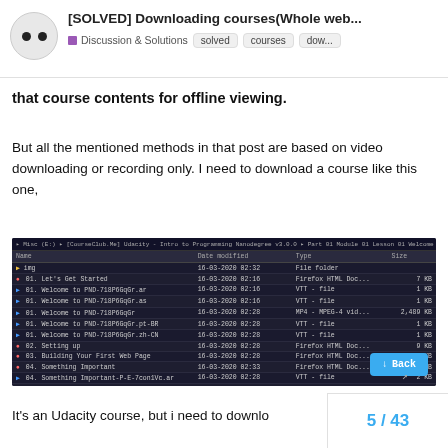[SOLVED] Downloading courses(Whole web... — Discussion & Solutions | solved | courses | dow...
that course contents for offline viewing.
But all the mentioned methods in that post are based on video downloading or recording only. I need to download a course like this one,
[Figure (screenshot): Dark-themed Windows file explorer showing a Udacity course folder with files named img, 01. Let's Get Started, 01. Welcome to PND-718P6GqGr.ar, etc. with dates around 16-03-2020, file types Firefox HTML Doc, VTT file, MP4 file, and sizes. A Back button is visible bottom right.]
It's an Udacity course, but i need to downlo
5 / 43